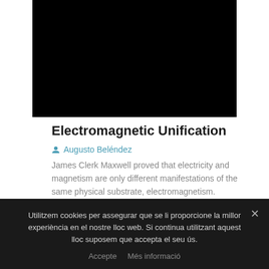[Figure (photo): Black rectangular image area, likely a photo or video thumbnail related to electromagnetic unification]
Electromagnetic Unification
Augusto Beléndez
James Clerk Maxwell proved that electricity and magnetism are only different manifestations of the same physical substrate, electromagnetism.
Utilitzem cookies per assegurar que se li proporcione la millor experiència en el nostre lloc web. Si continua utilitzant aquest lloc suposem que accepta el seu ús.
Accepte   Més informació